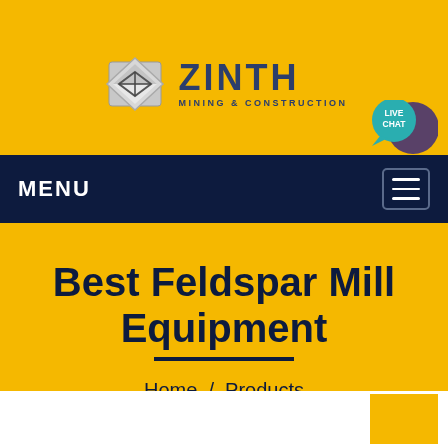[Figure (logo): ZINTH Mining & Construction logo with diamond/cube icon in silver and the company name in dark navy blue with subtitle MINING & CONSTRUCTION]
[Figure (other): Live Chat speech bubble icon in teal and purple, top right corner]
MENU
Best Feldspar Mill Equipment
Home  /  Products